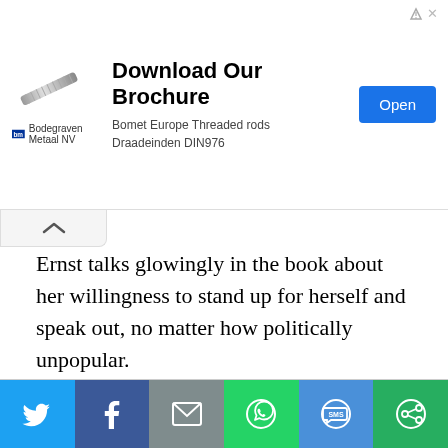[Figure (screenshot): Advertisement banner for Bodegraven Metaal NV promoting 'Download Our Brochure' for Bomet Europe Threaded rods Draadeinden DIN976, with an Open button.]
Ernst talks glowingly in the book about her willingness to stand up for herself and speak out, no matter how politically unpopular.
But when recently given the opportunity to comment on the White House’s use of tear gas on peaceful protestors, Ernst told CNN, “I think we all will do things differently and the president chose one path.”
[Figure (infographic): Social sharing bar with Twitter, Facebook, Email, WhatsApp, SMS, and More buttons.]